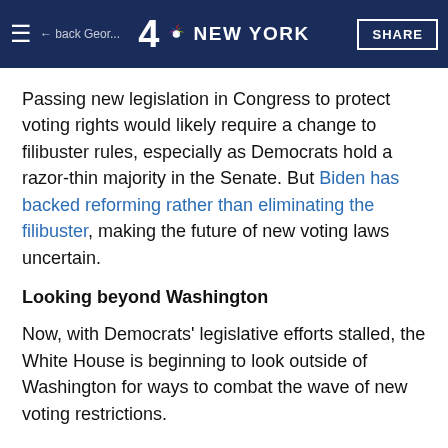NBC 4 NEW YORK — SHARE
Passing new legislation in Congress to protect voting rights would likely require a change to filibuster rules, especially as Democrats hold a razor-thin majority in the Senate. But Biden has backed reforming rather than eliminating the filibuster, making the future of new voting laws uncertain.
Looking beyond Washington
Now, with Democrats' legislative efforts stalled, the White House is beginning to look outside of Washington for ways to combat the wave of new voting restrictions.
Biden has had several meetings at the White House with civil rights groups, who pushed the administration to keep fighting for voting rights despite resistance from